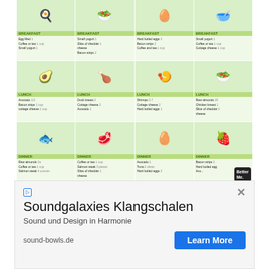[Figure (infographic): Meal plan grid showing 4 days x 3 meals (Breakfast, Lunch, Dinner) with food photos and item lists for each meal, with Better Me logo badge in bottom right]
source 1: http://www.mystera-magazine.com/article/earth-chakras | source 2
The 10 Vile (Strong) Vortices
[Figure (screenshot): Advertisement for Soundgalaxies Klangschalen - Sound und Design in Harmonie - sound-bowls.de with Learn More button]